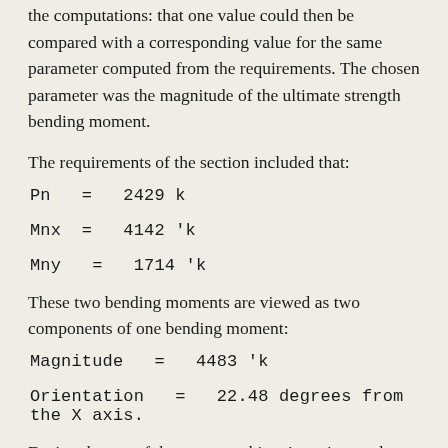the computations: that one value could then be compared with a corresponding value for the same parameter computed from the requirements. The chosen parameter was the magnitude of the ultimate strength bending moment.
The requirements of the section included that:
These two bending moments are viewed as two components of one bending moment:
During the use of the program this orientation angle, 22.48 degrees, was input as the reference angle. The axial load was set